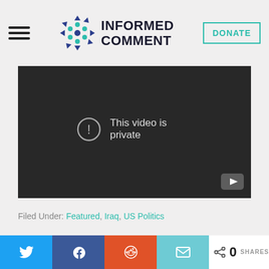Informed Comment — DONATE
[Figure (screenshot): Embedded video player showing 'This video is private' message with YouTube icon in bottom-right corner]
Filed Under: Featured, Iraq, US Politics
[Figure (photo): Partial image visible at bottom of content area — green/outdoor scene]
[Figure (infographic): Social share bar with Twitter, Facebook, Reddit, Email buttons and share count of 0 SHARES]